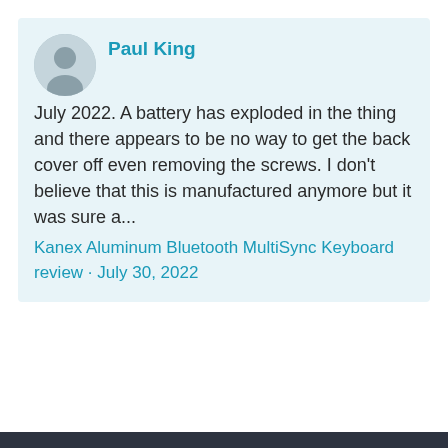Paul King
July 2022. A battery has exploded in the thing and there appears to be no way to get the back cover off even removing the screws. I don't believe that this is manufactured anymore but it was sure a...
Kanex Aluminum Bluetooth MultiSync Keyboard review · July 30, 2022
Copyright © 2022 Pocketables. All rights reserved.
[Figure (infographic): Orange Direct Relief advertisement banner: 'Help send medical aid to Ukraine >>' with DirectRelief logo (box with arrow icon)]